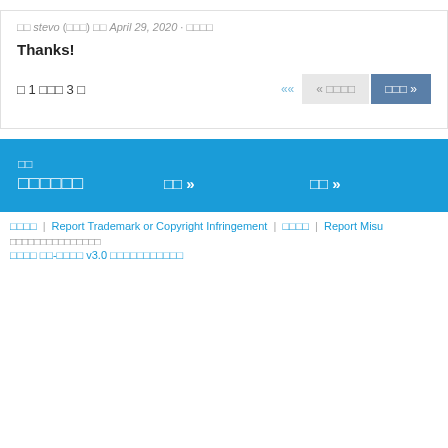□□ stevo (□□□) □□ April 29, 2020 · □□□□
Thanks!
□ 1 □□□ 3 □
□□ »  « □□□□  □□□ »
□□  □□□□□□
□□ »
□□ »
□□□□ | Report Trademark or Copyright Infringement | □□□□ | Report Misu...
□□□□□□□□□□□□□□□
□□□□ □□-□□□□ v3.0 □□□□□□□□□□□